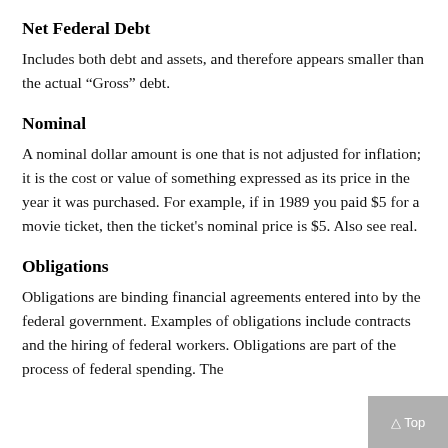Net Federal Debt
Includes both debt and assets, and therefore appears smaller than the actual “Gross” debt.
Nominal
A nominal dollar amount is one that is not adjusted for inflation; it is the cost or value of something expressed as its price in the year it was purchased. For example, if in 1989 you paid $5 for a movie ticket, then the ticket's nominal price is $5. Also see real.
Obligations
Obligations are binding financial agreements entered into by the federal government. Examples of obligations include contracts and the hiring of federal workers. Obligations are part of the process of federal spending. The